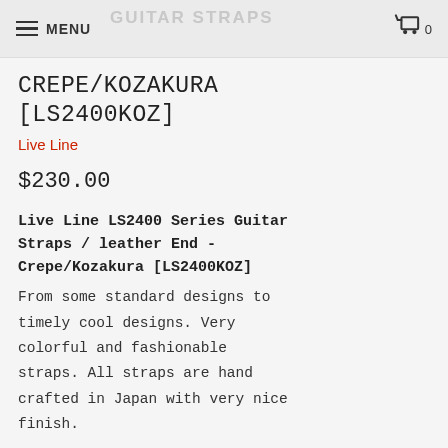MENU | GUITAR STRAPS | 0
CREPE/KOZAKURA
[LS2400KOZ]
Live Line
$230.00
Live Line LS2400 Series Guitar Straps / leather End - Crepe/Kozakura [LS2400KOZ]
From some standard designs to timely cool designs. Very colorful and fashionable straps. All straps are hand crafted in Japan with very nice finish.